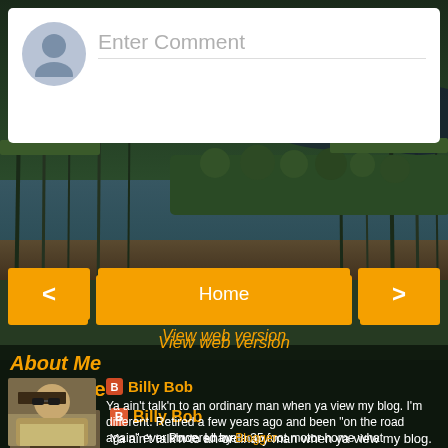[Figure (screenshot): Comment input box with avatar placeholder and 'Enter Comment' placeholder text on white background]
[Figure (screenshot): Navigation buttons: left arrow, Home, right arrow in orange, with 'View web version' link in orange below, all overlaid on a nature/water background photo]
About Me
[Figure (photo): Profile photo of Billy Bob - man wearing sunglasses outdoors]
Billy Bob
Ya ain't talk'n to an ordinary man when ya view my blog. I'm different. Retired a few years ago and been "on the road again" ever since. I have a 35 foot motor home what is pretty much self contained for off grid boondocking. I make stuff and enjoy life for what it is.
View my complete profile
Powered by Blogger.